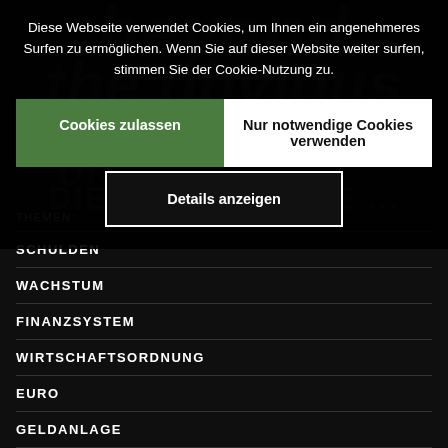[Figure (screenshot): Dark background with watermark text: 'beyond the obvious' in large italic grey letters, 'DR' and 'DIE FINANZKRISE...' partially visible]
Diese Webseite verwendet Cookies, um Ihnen ein angenehmeres Surfen zu ermöglichen. Wenn Sie auf dieser Website weiter surfen, stimmen Sie der Cookie-Nutzung zu.
Cookies zulassen
Nur notwendige Cookies verwenden
Details anzeigen
THEMEN:
SCHULDEN
WACHSTUM
FINANZSYSTEM
WIRTSCHAFTSORDNUNG
EURO
GELDANLAGE